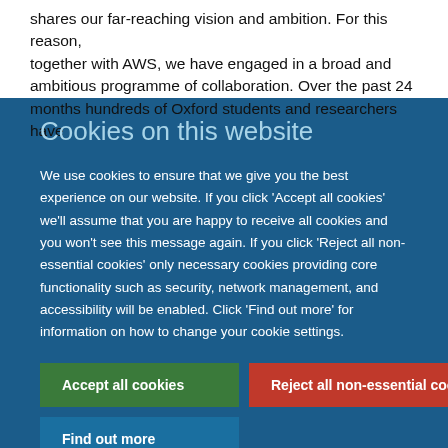shares our far-reaching vision and ambition. For this reason, together with AWS, we have engaged in a broad and ambitious programme of collaboration. Over the past 24 months hundreds of Oxford students and researchers have
Cookies on this website
We use cookies to ensure that we give you the best experience on our website. If you click 'Accept all cookies' we'll assume that you are happy to receive all cookies and you won't see this message again. If you click 'Reject all non-essential cookies' only necessary cookies providing core functionality such as security, network management, and accessibility will be enabled. Click 'Find out more' for information on how to change your cookie settings.
Accept all cookies
Reject all non-essential cookies
Find out more